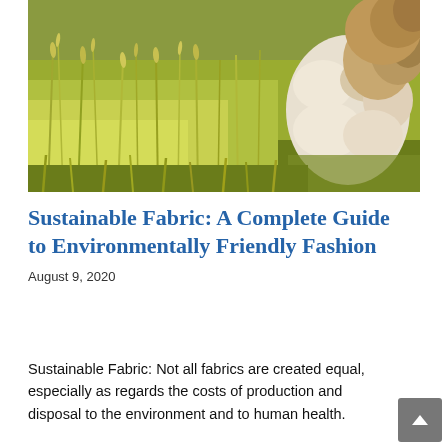[Figure (photo): A fluffy white and brown sheep or dog standing in a field of tall golden-green grass and wildflowers, viewed from behind/side. The animal occupies the right portion of the image, the left is full of greenish-yellow grassy meadow.]
Sustainable Fabric: A Complete Guide to Environmentally Friendly Fashion
August 9, 2020
Sustainable Fabric: Not all fabrics are created equal, especially as regards the costs of production and disposal to the environment and to human health.